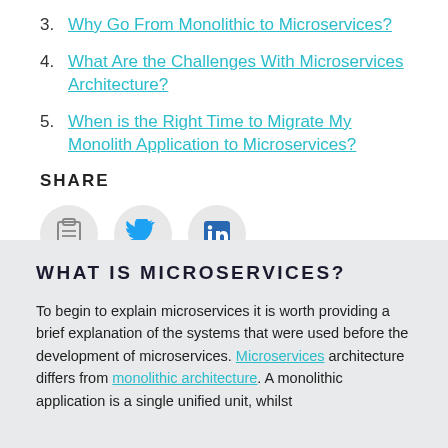3. Why Go From Monolithic to Microservices?
4. What Are the Challenges With Microservices Architecture?
5. When is the Right Time to Migrate My Monolith Application to Microservices?
SHARE
[Figure (infographic): Three circular social share buttons: clipboard/copy icon, Twitter bird icon, LinkedIn icon]
WHAT IS MICROSERVICES?
To begin to explain microservices it is worth providing a brief explanation of the systems that were used before the development of microservices. Microservices architecture differs from monolithic architecture. A monolithic application is a single unified unit, whilst